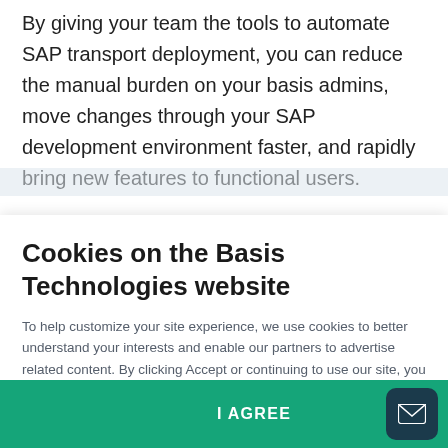By giving your team the tools to automate SAP transport deployment, you can reduce the manual burden on your basis admins, move changes through your SAP development environment faster, and rapidly bring new features to functional users.
Cookies on the Basis Technologies website
To help customize your site experience, we use cookies to better understand your interests and enable our partners to advertise related content. By clicking Accept or continuing to use our site, you have agreed to share your data through our cookie consent policy and can change your settings at any time. More Info
I AGREE